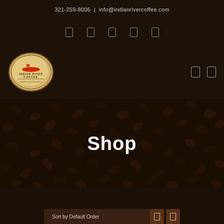321-259-8005 | info@indianrivercoffee.com
[Figure (logo): Indian River Coffee oval logo with red canoe paddler graphic and text INDIAN RIVER COFFEE Small-Craft Roasters]
Shop
Sort by Default Order